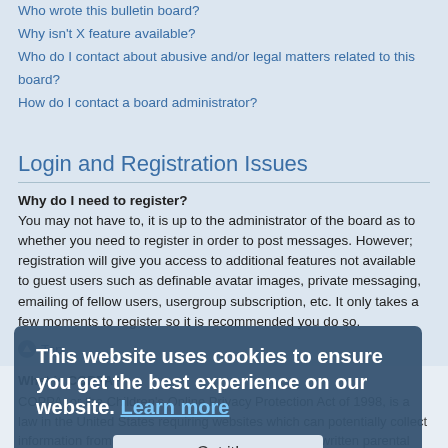Who wrote this bulletin board?
Why isn't X feature available?
Who do I contact about abusive and/or legal matters related to this board?
How do I contact a board administrator?
Login and Registration Issues
Why do I need to register?
You may not have to, it is up to the administrator of the board as to whether you need to register in order to post messages. However; registration will give you access to additional features not available to guest users such as definable avatar images, private messaging, emailing of fellow users, usergroup subscription, etc. It only takes a few moments to register so it is recommended you do so.
Top
What is COPPA?
COPPA, or the Children's Online Privacy Protection Act of 1998, is a law in the United States requiring websites which can potentially collect information from minors under the age of 13 to have written parental consent or some other method of legal guardian acknowledgment, allowing the collection of personally identifiable information from a minor under the age of 13. If you are unsure if this applies to you as someone trying to register or to the website you are trying to register on, contact legal counsel for assistance. Please note that phpBB Limited and the owners of this board cannot provide legal advice and is not a point of
This website uses cookies to ensure you get the best experience on our website. Learn more
Got it!